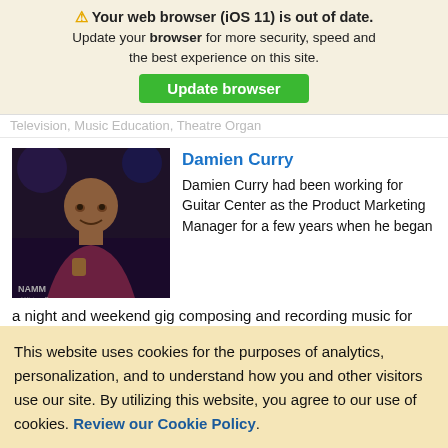⚠ Your web browser (iOS 11) is out of date. Update your browser for more security, speed and the best experience on this site.
Update browser
Television, Music Education, Theatre Organ
Damien Curry
Damien Curry had been working for Guitar Center as the Product Marketing Manager for a few years when he began a night and weekend gig composing and recording music for television. Since 2007 his Diamond Mine
This website uses cookies for the purposes of analytics, personalization, and to understand how you and other visitors use our site. By utilizing this website, you agree to our use of cookies. Review our Cookie Policy.